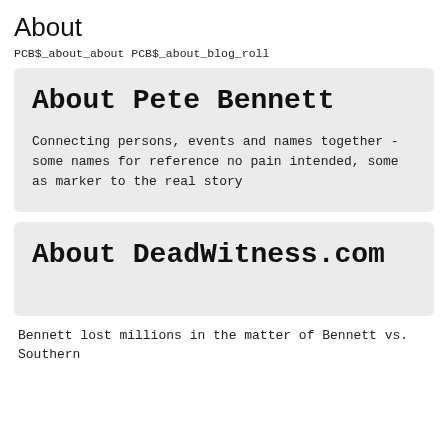About
PCB$_about_about PCB$_about_blog_roll
About Pete Bennett
Connecting persons, events and names together - some names for reference no pain intended, some as marker to the real story
About DeadWitness.com
Bennett lost millions in the matter of Bennett vs. Southern